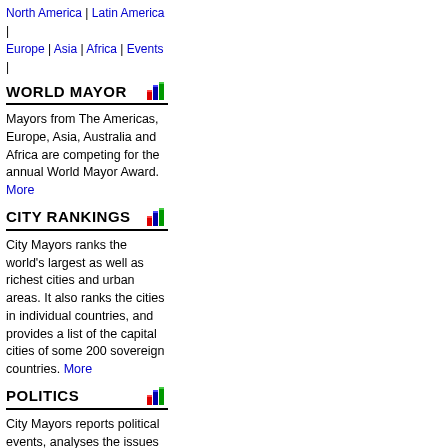North America | Latin America | Europe | Asia | Africa | Events |
WORLD MAYOR
Mayors from The Americas, Europe, Asia, Australia and Africa are competing for the annual World Mayor Award. More
CITY RANKINGS
City Mayors ranks the world's largest as well as richest cities and urban areas. It also ranks the cities in individual countries, and provides a list of the capital cities of some 200 sovereign countries. More
POLITICS
City Mayors reports political events, analyses the issues and depicts the main players. More
GOVERNMENT
City Mayors describes and explains the structures and workings of local government in Europe, The Americas, Asia, Australia and Africa. More
MAYORS
City Mayors profiles city leaders from around the world and questions them about their achievements, policies and aims. More
ECONOMICS